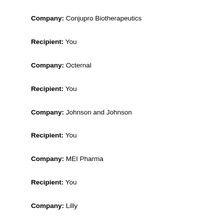Company: Conjupro Biotherapeutics
Recipient: You
Company: Octernal
Recipient: You
Company: Johnson and Johnson
Recipient: You
Company: MEI Pharma
Recipient: You
Company: Lilly
Recipient: You
Consulting or Advisory Role